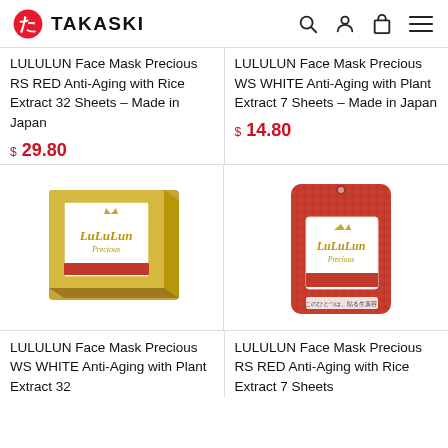TAKASKI
LULULUN Face Mask Precious RS RED Anti-Aging with Rice Extract 32 Sheets – Made in Japan
$ 29.80
LULULUN Face Mask Precious WS WHITE Anti-Aging with Plant Extract 7 Sheets – Made in Japan
$ 14.80
[Figure (photo): LuluLun Precious gold box packaging]
[Figure (photo): LuluLun Precious red pouch packaging]
LULULUN Face Mask Precious WS WHITE Anti-Aging with Plant Extract 32
LULULUN Face Mask Precious RS RED Anti-Aging with Rice Extract 7 Sheets